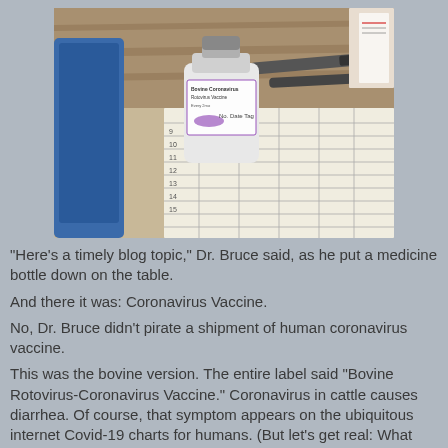[Figure (photo): A photo showing a white medicine bottle with a label reading 'Bovine Rotovirus-Coronavirus Vaccine', along with syringes and a paper record sheet on a table.]
"Here's a timely blog topic," Dr. Bruce said, as he put a medicine bottle down on the table.
And there it was: Coronavirus Vaccine.
No, Dr. Bruce didn't pirate a shipment of human coronavirus vaccine.
This was the bovine version. The entire label said "Bovine Rotovirus-Coronavirus Vaccine." Coronavirus in cattle causes diarrhea. Of course, that symptom appears on the ubiquitous internet Covid-19 charts for humans. (But let's get real: What symptoms aren't present on those charts?)